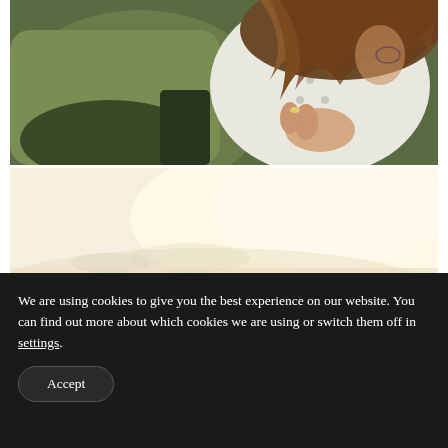[Figure (photo): Close-up photo of two people embracing. A person in an olive/khaki green top has their arm around someone with long wavy brown hair wearing a white polka-dot top. A hand with a ring is visible.]
[Figure (photo): Bright, washed-out/overexposed outdoor photo with light beige and white tones, possibly a beach or sandy landscape scene.]
We are using cookies to give you the best experience on our website. You can find out more about which cookies we are using or switch them off in settings.
Accept